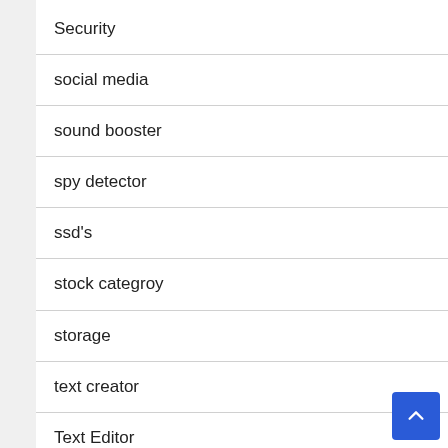Security
social media
sound booster
spy detector
ssd's
stock categroy
storage
text creator
Text Editor